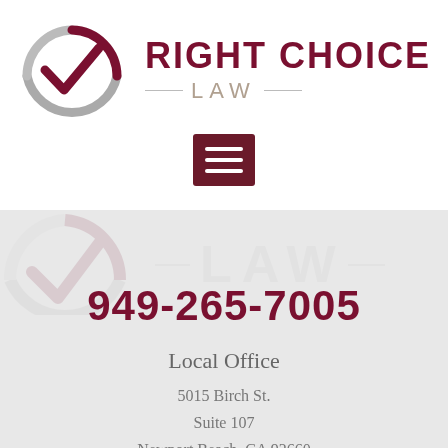[Figure (logo): Right Choice Law logo: circular checkmark in dark red and gray, with firm name 'RIGHT CHOICE LAW' in dark red and gray serif text]
[Figure (other): Hamburger menu button (three horizontal white lines on dark red/maroon background rectangle)]
949-265-7005
Local Office
5015 Birch St.
Suite 107
Newport Beach, CA 92660
Map & Directions